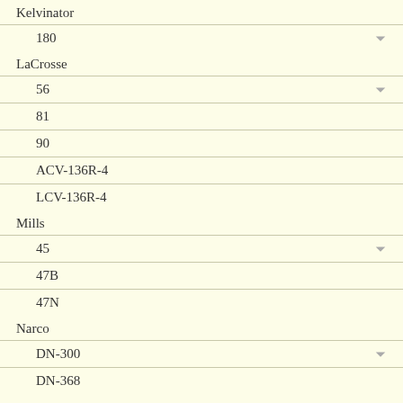Kelvinator
180
LaCrosse
56
81
90
ACV-136R-4
LCV-136R-4
Mills
45
47B
47N
Narco
DN-300
DN-368